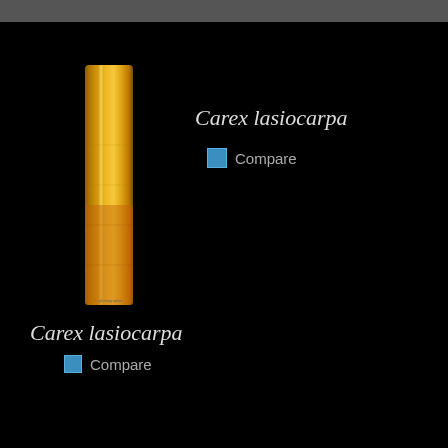[Figure (photo): Close-up photograph of Carex lasiocarpa plant stem, showing golden-yellow coloration against a dark background.]
Carex lasiocarpa
Compare
Carex lasiocarpa
Compare